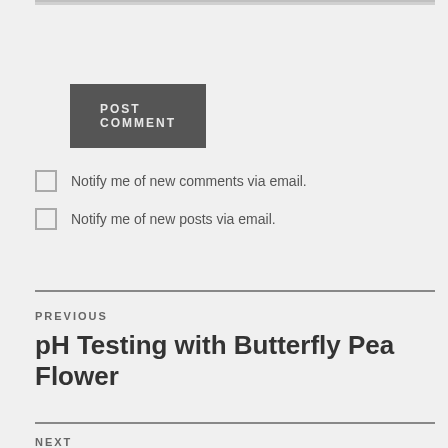POST COMMENT
Notify me of new comments via email.
Notify me of new posts via email.
PREVIOUS
pH Testing with Butterfly Pea Flower
NEXT